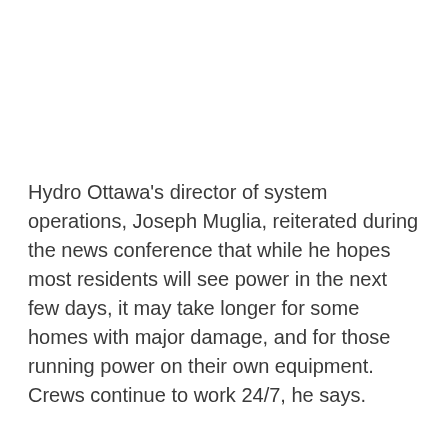Hydro Ottawa's director of system operations, Joseph Muglia, reiterated during the news conference that while he hopes most residents will see power in the next few days, it may take longer for some homes with major damage, and for those running power on their own equipment. Crews continue to work 24/7, he says.